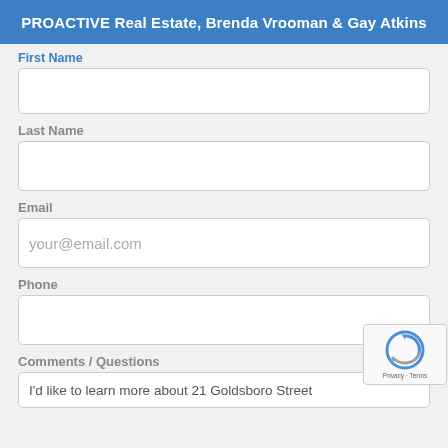PROACTIVE Real Estate, Brenda Vrooman & Gay Atkins
First Name
Last Name
Email
Phone
Comments / Questions
I'd like to learn more about 21 Goldsboro Street